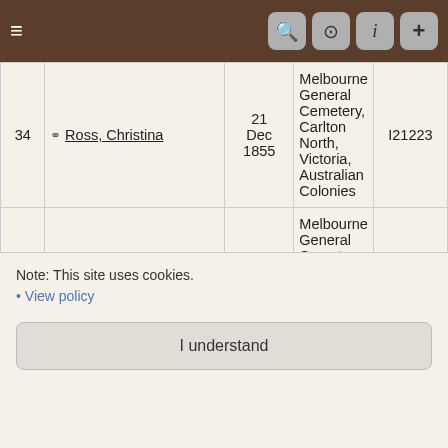≡  [toolbar with search, camera, info, plus icons]
| # | Name | Date | Place | ID |
| --- | --- | --- | --- | --- |
| 34 | ♀ Ross, Christina | 21 Dec 1855 | Melbourne General Cemetery, Carlton North, Victoria, Australian Colonies | I21223 |
| 35 | ♀ Stone, Mary Rachael | 22 Apr 1879 | Melbourne General Cemetery, Carlton North, Victoria, Australian Colonies | I47033 |
| 36 | ♀ Stone, Elizabeth | 24 ... | Melbourne General Cemetery, Carlton ... | I... |
Note: This site uses cookies.
• View policy
I understand